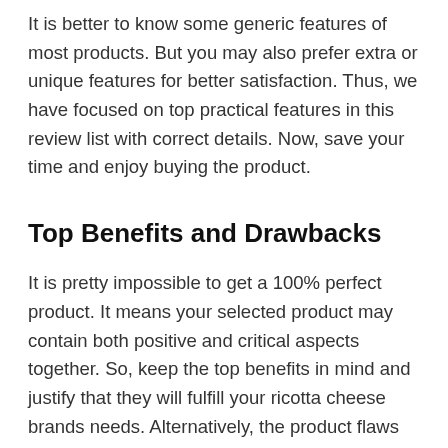It is better to know some generic features of most products. But you may also prefer extra or unique features for better satisfaction. Thus, we have focused on top practical features in this review list with correct details. Now, save your time and enjoy buying the product.
Top Benefits and Drawbacks
It is pretty impossible to get a 100% perfect product. It means your selected product may contain both positive and critical aspects together. So, keep the top benefits in mind and justify that they will fulfill your ricotta cheese brands needs. Alternatively, the product flaws may give an idea